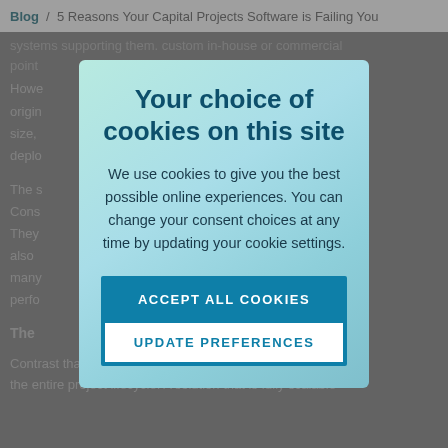Blog / 5 Reasons Your Capital Projects Software is Failing You
systems supporting them. Custom in-house or commercial point
Howe original ect size, sily deplo vers.
The s Cons s. They t also tes many perfo e.
Your choice of cookies on this site
We use cookies to give you the best possible online experiences. You can change your consent choices at any time by updating your cookie settings.
ACCEPT ALL COOKIES
UPDATE PREFERENCES
The
Contrast that with a single integrated solution that covers the entire project lifecycle. A solution that is fully scalable